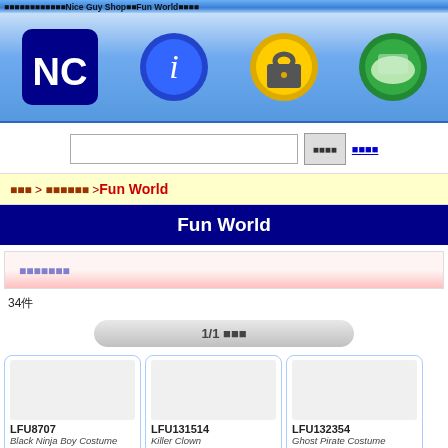Nice Guy Shop Fun World
[Figure (screenshot): Navigation bar with NC logo icon, info icon (blue circle with i), lock/security icon (gold padlock), and shopping cart icon (globe with cart)]
Search input box with search button and link
店舗一覧 > コスプレ衣装 > Fun World
Fun World
並び替え（並び替え）
34件
1/1 ページ表示
LFU8707
Black Ninja Boy Costume
Fun World
LFU131514
Killer Clown
Fun World
LFU132354
Ghost Pirate Costume
Fun World